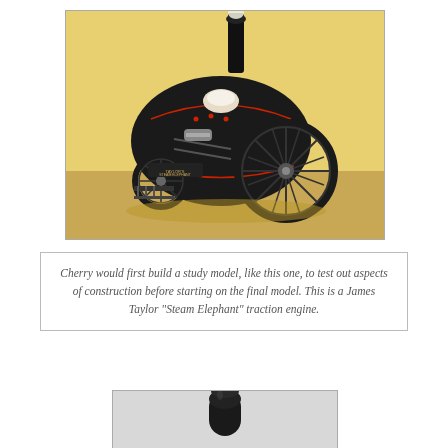[Figure (photo): A model of a James Taylor 'Steam Elephant' traction engine, black with red trim, displayed on a yellow background. The model shows large spoked wheels, a chimney stack, and intricate mechanical details.]
Cherry would first build a study model, like this one, to test out aspects of construction before starting on the final model. This is a James Taylor “Steam Elephant” traction engine.
[Figure (photo): Partial view of what appears to be a black cylindrical object or tool handle against a light grey background.]